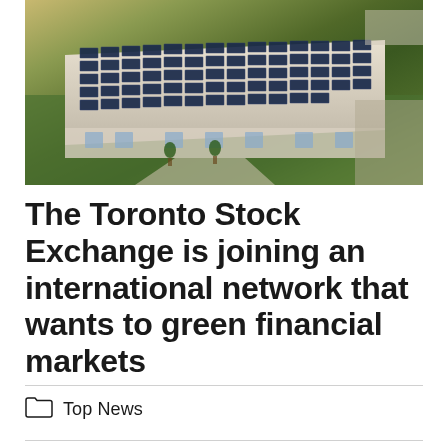[Figure (photo): Aerial view of a building with a large rooftop covered in solar panels, surrounded by green lawns, pathways, and a parking area]
The Toronto Stock Exchange is joining an international network that wants to green financial markets
Top News